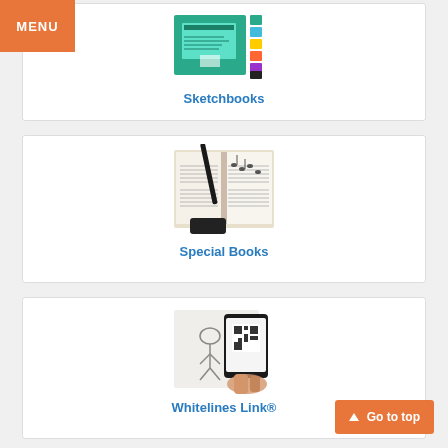MENU
[Figure (photo): Product image of sketchbooks with teal/green cover and colorful tabs]
Sketchbooks
[Figure (photo): Open music notebook with handwritten sheet music and a pen/stylus]
Special Books
[Figure (photo): Hand holding smartphone over a sketchbook page with drawings, showing Whitelines Link app]
Whitelines Link®